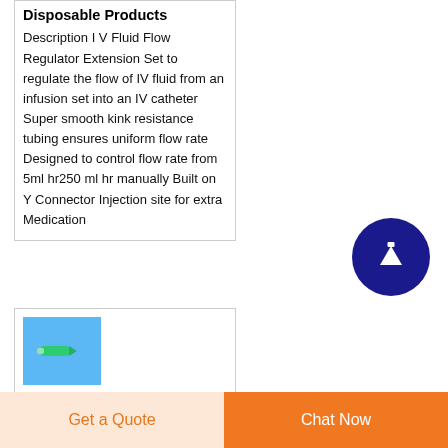Disposable Products
Description I V Fluid Flow Regulator Extension Set to regulate the flow of IV fluid from an infusion set into an IV catheter Super smooth kink resistance tubing ensures uniform flow rate Designed to control flow rate from 5ml hr250 ml hr manually Built on Y Connector Injection site for extra Medication
[Figure (other): Scroll to top circular button with upward arrow, dark blue background]
[Figure (photo): Small product thumbnail showing a green/teal medical connector device on blue background]
RegulatorsCHROMA GAS SDN BHD
Get a Quote | Chat Now